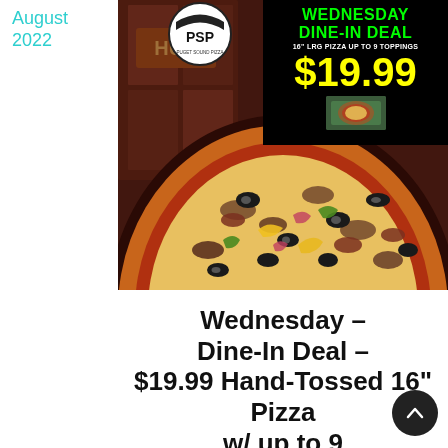August
2022
[Figure (photo): Pizza restaurant interior photo showing a large hand-tossed pizza with multiple toppings (olives, peppers, mushrooms, onions, etc.) on a dark pan, with the restaurant HUB sign visible in the background. Overlaid with a promotional banner showing Wednesday Dine-In Deal $19.99 and PSP (Puget Sound Pizza) logo.]
Wednesday – Dine-In Deal – $19.99 Hand-Tossed 16" Pizza w/ up to 9